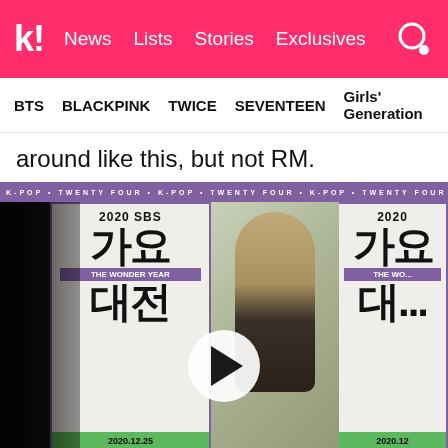Koreaboo - News | Lists | Stories | Exclusives
BTS | BLACKPINK | TWICE | SEVENTEEN | Girls' Generation
around like this, but not RM.
[Figure (screenshot): Video thumbnail showing BTS RM at the 2020 SBS Gayo Daejeon (가요대전) The Wonder Year event. RM is in the center wearing a beige blazer. A video play button is visible in the center of the image. Background shows event posters with Korean text '가요대전', '2020 SBS', date '2020.12.25' and time 'KRU PMZ:30'.]